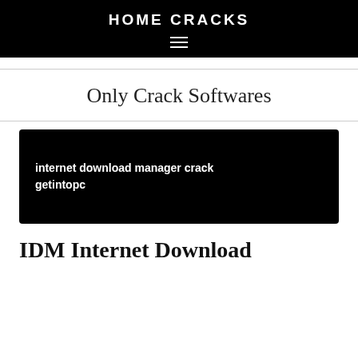HOME CRACKS
Only Crack Softwares
[Figure (screenshot): Dark banner image with bold white text reading 'internet download manager crack getintopc']
IDM Internet Download